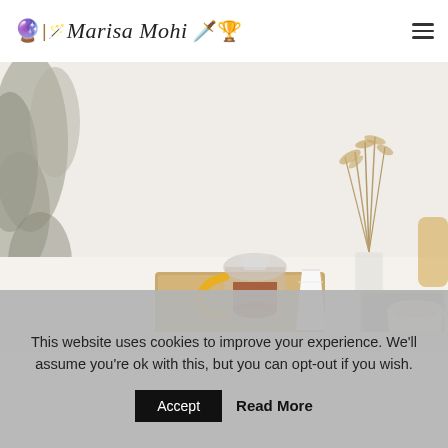🔮 | Marisa Mohi 🗡️🏆
[Figure (photo): A flat lay / desk scene with a pour-over coffee carafe on a wooden board, a white paper cup, a clear glass vase with dried branches, a laptop, and a latte mug on a white table. Greenery visible on the left side of the image.]
This website uses cookies to improve your experience. We'll assume you're ok with this, but you can opt-out if you wish.
Accept   Read More